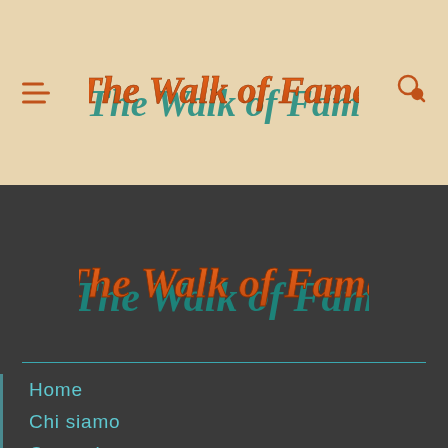[Figure (logo): The Walk of Fame stylized logo in header on beige background]
[Figure (logo): The Walk of Fame stylized logo on dark background]
Home
Chi siamo
Contatti
Home
La redazione